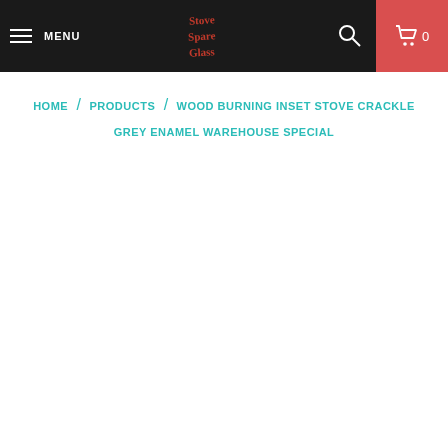MENU | Stove Spare Glass | 0
HOME / PRODUCTS / WOOD BURNING INSET STOVE CRACKLE GREY ENAMEL WAREHOUSE SPECIAL